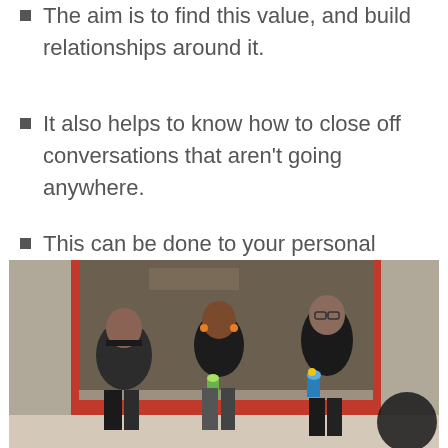The aim is to find this value, and build relationships around it.
It also helps to know how to close off conversations that aren't going anywhere.
This can be done to your personal taste, but politely. Relationships need to be preserved
[Figure (photo): Three young women sitting together in a social setting, two with dark hair and one with glasses, dressed in black clothing, holding drinks, with a red-framed storefront window visible behind them.]